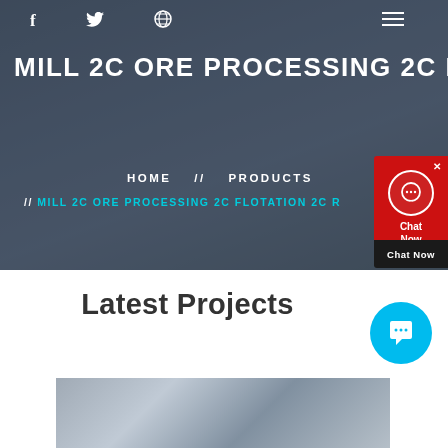[Figure (screenshot): Website screenshot showing hero section with construction/industrial background photo, social media icons (Facebook, Twitter, Dribbble), hamburger menu, main title 'MILL 2C ORE PROCESSING 2C FL', breadcrumb navigation with HOME // PRODUCTS // MILL 2C ORE PROCESSING 2C FLOTATION 2C R, and a Chat Now widget in red]
MILL 2C ORE PROCESSING 2C FL
HOME // PRODUCTS
// MILL 2C ORE PROCESSING 2C FLOTATION 2C R
Latest Projects
[Figure (photo): Industrial/mining facility interior showing machinery, steel structures, and equipment]